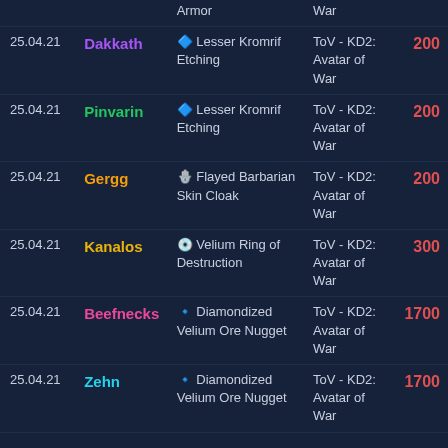| Date | Name | Item | Zone | DKP |
| --- | --- | --- | --- | --- |
|  |  | Armor | War |  |
| 25.04.21 | Dakkath | Lesser Kromrif Etching | ToV - KD2: Avatar of War | 200 |
| 25.04.21 | Pinvarin | Lesser Kromrif Etching | ToV - KD2: Avatar of War | 200 |
| 25.04.21 | Gergg | Flayed Barbarian Skin Cloak | ToV - KD2: Avatar of War | 200 |
| 25.04.21 | Kanalos | Velium Ring of Destruction | ToV - KD2: Avatar of War | 300 |
| 25.04.21 | Beefnecks | Diamondized Velium Ore Nugget | ToV - KD2: Avatar of War | 1700 |
| 25.04.21 | Zehn | Diamondized Velium Ore Nugget | ToV - KD2: Avatar of War | 1700 |